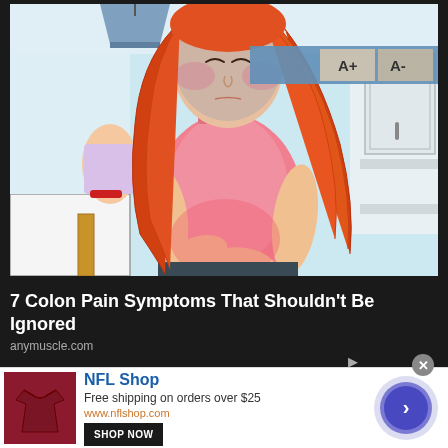[Figure (illustration): Cartoon/illustrated image of a young woman with red/orange hair wearing a pink tank top and dark pants, holding her abdomen area with both hands as if experiencing stomach/colon pain. She appears to have a reddish flush on her face and midsection suggesting pain or discomfort. The background shows a kitchen setting. A browser reading toolbar with A+ and A- buttons is overlaid at the top right.]
7 Colon Pain Symptoms That Shouldn't Be Ignored
anymuscle.com
[Figure (infographic): Advertisement for NFL Shop. Shows a dark red/maroon jersey or shirt thumbnail on left. Text reads 'NFL Shop', 'Free shipping on orders over $25', 'www.nflshop.com', and a 'SHOP NOW' button. On the right side is a circular blue/purple navigation arrow button. A close (x) button and ad indicator arrow appear at top right of ad.]